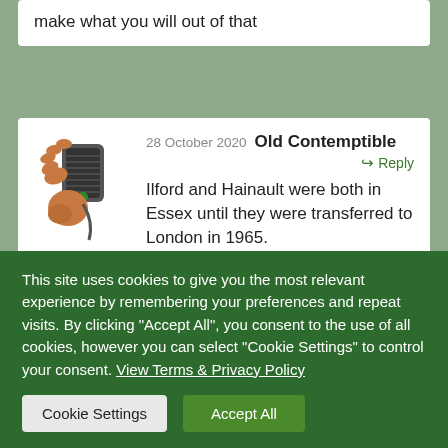make what you will out of that
28 October 2020   Old Contemptible
Reply
Ilford and Hainault were both in Essex until they were transferred to London in 1965.
26 July 2020   terry   Reply
This site uses cookies to give you the most relevant experience by remembering your preferences and repeat visits. By clicking "Accept All", you consent to the use of all cookies, however you can select "Cookie Settings" to control your consent. View Terms & Privacy Policy
Cookie Settings   Accept All